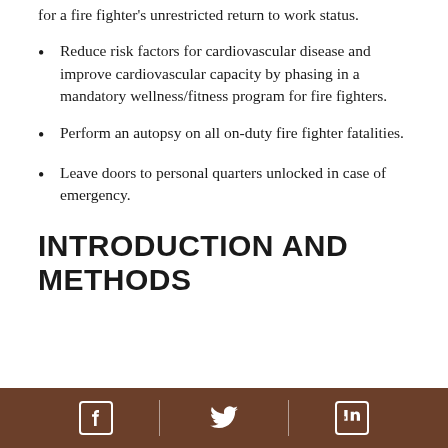for a fire fighter's unrestricted return to work status.
Reduce risk factors for cardiovascular disease and improve cardiovascular capacity by phasing in a mandatory wellness/fitness program for fire fighters.
Perform an autopsy on all on-duty fire fighter fatalities.
Leave doors to personal quarters unlocked in case of emergency.
INTRODUCTION AND METHODS
Facebook | Twitter | LinkedIn